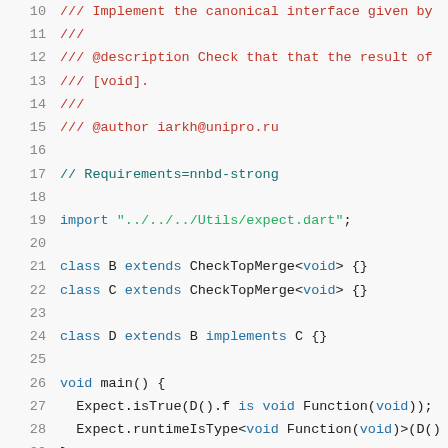[Figure (screenshot): Source code in Dart showing lines 10-29 of a test file. Lines 10-15 are doc comments in red (///) covering description and author. Line 17 is a comment about Requirements. Line 19 imports Utils/expect.dart. Lines 21-22 define classes B and C extending CheckTopMerge<void>. Line 24 defines class D extending B and implementing C. Lines 26-29 define main() with Expect.isTrue and Expect.runtimeIsType calls.]